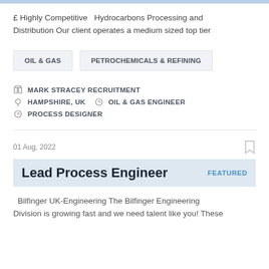£ Highly Competitive  Hydrocarbons Processing and Distribution Our client operates a medium sized top tier
OIL & GAS
PETROCHEMICALS & REFINING
MARK STRACEY RECRUITMENT
HAMPSHIRE, UK   OIL & GAS ENGINEER
PROCESS DESIGNER
01 Aug, 2022
Lead Process Engineer
FEATURED
Bilfinger UK-Engineering The Bilfinger Engineering Division is growing fast and we need talent like you! These